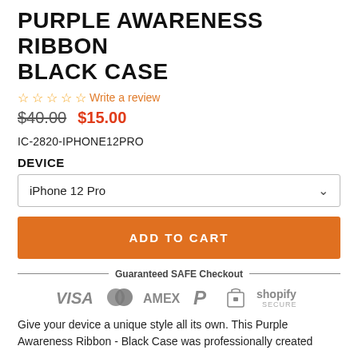PURPLE AWARENESS RIBBON BLACK CASE
☆☆☆☆☆ Write a review
$40.00  $15.00
IC-2820-IPHONE12PRO
DEVICE
iPhone 12 Pro
ADD TO CART
[Figure (infographic): Guaranteed SAFE Checkout banner with payment icons: VISA, Mastercard, AMEX, PayPal, Shopify Secure]
Give your device a unique style all its own. This Purple Awareness Ribbon - Black Case was professionally created